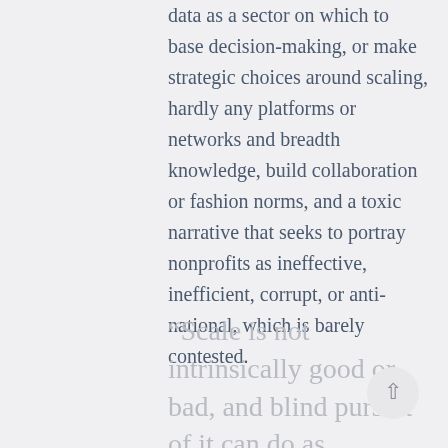data as a sector on which to base decision-making, or make strategic choices around scaling, hardly any platforms or networks and breadth knowledge, build collaboration or fashion norms, and a toxic narrative that seeks to portray nonprofits as ineffective, inefficient, corrupt, or anti-national, which is barely contested.
“Scale is not intrinsically good or bad, and blind pursuit of it can do as